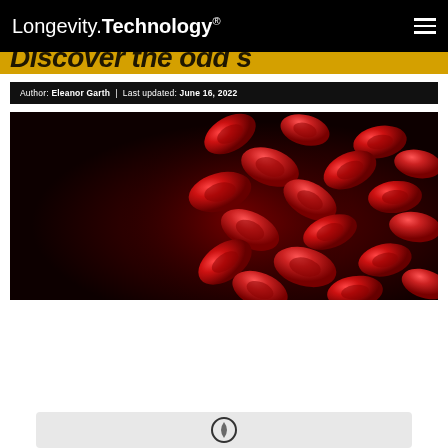Longevity.Technology®
[partially cropped title text]
Author: Eleanor Garth | Last updated: June 16, 2022
[Figure (photo): Close-up illustration of red blood cells (erythrocytes) floating against a dark red background]
[Figure (illustration): Partially visible icon/graphic at bottom of page, light gray background box with dark circular icon]